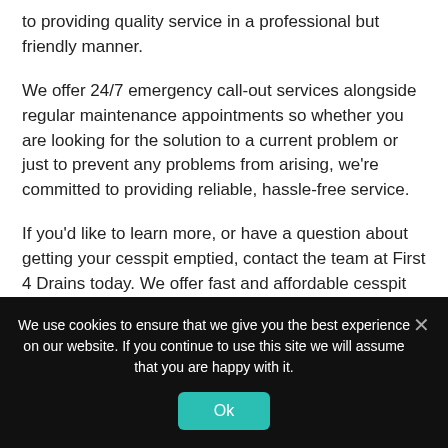to providing quality service in a professional but friendly manner.
We offer 24/7 emergency call-out services alongside regular maintenance appointments so whether you are looking for the solution to a current problem or just to prevent any problems from arising, we're committed to providing reliable, hassle-free service.
If you'd like to learn more, or have a question about getting your cesspit emptied, contact the team at First 4 Drains today. We offer fast and affordable cesspit pumping services to
We use cookies to ensure that we give you the best experience on our website. If you continue to use this site we will assume that you are happy with it.